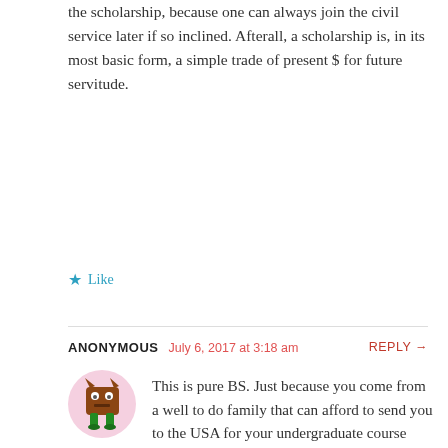I'd say if you don't need the money, don't take the scholarship, because one can always join the civil service later if so inclined. Afterall, a scholarship is, in its most basic form, a simple trade of present $ for future servitude.
Like
ANONYMOUS  July 6, 2017 at 3:18 am  REPLY →
[Figure (illustration): Avatar of a cartoon monster character — a brown square-ish creature with horns, eyes, and green legs, on a pink circular background]
This is pure BS. Just because you come from a well to do family that can afford to send you to the USA for your undergraduate course does not give you the bragging rights to reject a scholarship that is meant for brighter students who apply for it to serve the country. In the first place, you should not have even wasted time and resources of the PSC board to evaluate your character if you never have any aspiration to